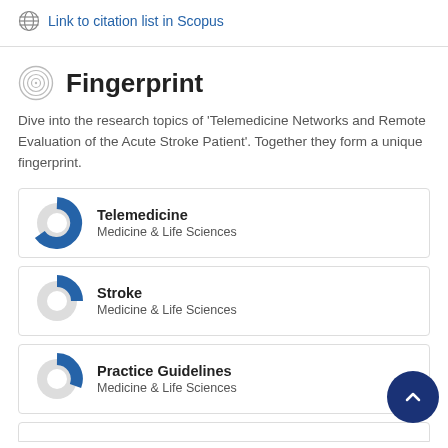Link to citation list in Scopus
Fingerprint
Dive into the research topics of 'Telemedicine Networks and Remote Evaluation of the Acute Stroke Patient'. Together they form a unique fingerprint.
Telemedicine — Medicine & Life Sciences
Stroke — Medicine & Life Sciences
Practice Guidelines — Medicine & Life Sciences